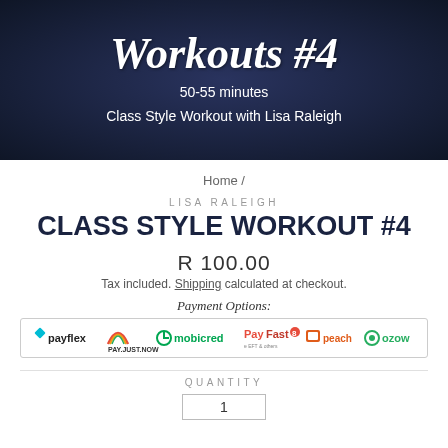[Figure (photo): Dark navy background hero image with fitness/workout overlay, showing cursive text 'Workouts #4' and subtitle '50-55 minutes Class Style Workout with Lisa Raleigh' in white on dark background]
Home /
LISA RALEIGH
CLASS STYLE WORKOUT #4
R 100.00
Tax included. Shipping calculated at checkout.
Payment Options:
[Figure (logo): Payment provider logos: payflex, PAY JUST NOW, mobicred, PayFast, peach payments, ozow]
QUANTITY